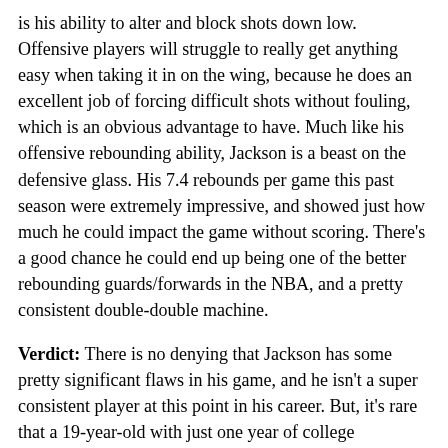is his ability to alter and block shots down low. Offensive players will struggle to really get anything easy when taking it in on the wing, because he does an excellent job of forcing difficult shots without fouling, which is an obvious advantage to have. Much like his offensive rebounding ability, Jackson is a beast on the defensive glass. His 7.4 rebounds per game this past season were extremely impressive, and showed just how much he could impact the game without scoring. There's a good chance he could end up being one of the better rebounding guards/forwards in the NBA, and a pretty consistent double-double machine.
Verdict: There is no denying that Jackson has some pretty significant flaws in his game, and he isn't a super consistent player at this point in his career. But, it's rare that a 19-year-old with just one year of college basketball doesn't have some notable deficiencies and time in the NBA learning from the best should help the Kansas product grow as a shooter and in other aspects of his game. When he does, Jackson's versatility on both ends of the court should only be more impressive,